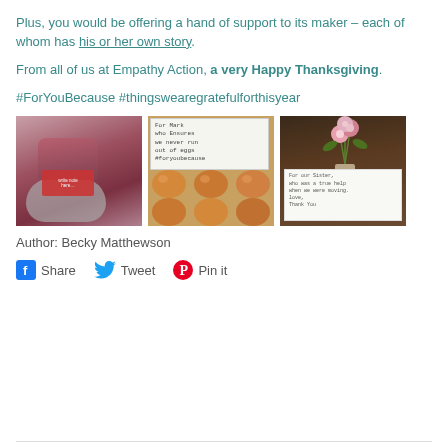Plus, you would be offering a hand of support to its maker – each of whom has his or her own story.
From all of us at Empathy Action, a very Happy Thanksgiving.
#ForYouBecause #thingswearegratefulforthisyear
[Figure (photo): Three photos side by side: a purple KitchenAid stand mixer with a red note card, a carton of eggs with a handwritten note, and a vase of pink roses with a handwritten note on a dark wood table.]
Author: Becky Matthewson
Share  Tweet  Pin it